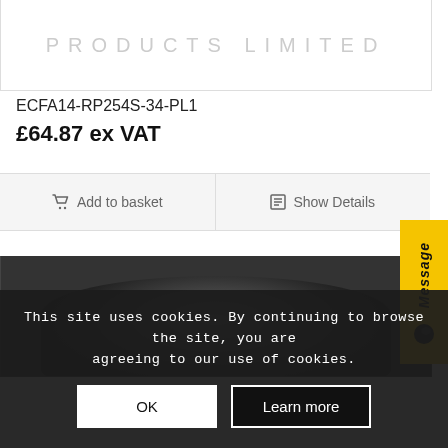[Figure (logo): Company logo area with text PRODUCTS LIMITED in grey spaced letters]
ECFA14-RP254S-34-PL1
£64.87 ex VAT
Add to basket
Show Details
[Figure (photo): Dark/black circular product image partially visible, bottom section of product card]
Message
This site uses cookies. By continuing to browse the site, you are agreeing to our use of cookies.
OK
Learn more